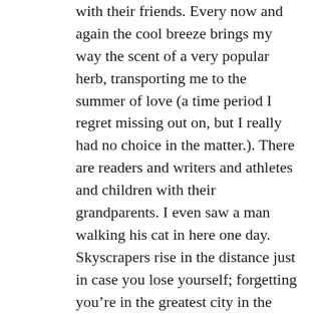with their friends. Every now and again the cool breeze brings my way the scent of a very popular herb, transporting me to the summer of love (a time period I regret missing out on, but I really had no choice in the matter.). There are readers and writers and athletes and children with their grandparents. I even saw a man walking his cat in here one day. Skyscrapers rise in the distance just in case you lose yourself; forgetting you're in the greatest city in the world. As I write this, a group of friends nearby are drinking beer, playing games, and screaming at each other in fierce but friendly competition. I'm unbothered. There are at least 300 people in this meadow today, and there is more than enough room for everyone. Even the little birds seem to have carved out their own little space. As I sit here in Central Park, Sheep Meadow to be exact, I'm presented with a glimpse of a better world